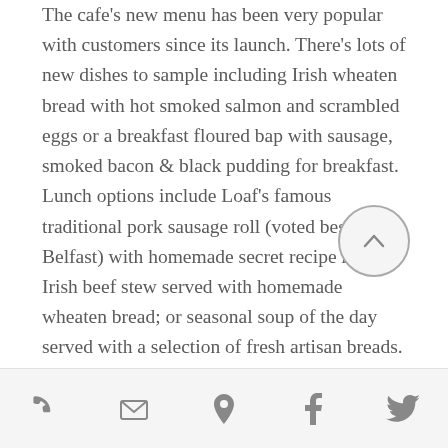The cafe's new menu has been very popular with customers since its launch. There's lots of new dishes to sample including Irish wheaten bread with hot smoked salmon and scrambled eggs or a breakfast floured bap with sausage, smoked bacon & black pudding for breakfast.  Lunch options include Loaf's famous traditional pork sausage roll (voted best in Belfast) with homemade secret recipe relish; Irish beef stew served with homemade wheaten bread; or seasonal soup of the day served with a selection of fresh artisan breads.
The Bobbin also has a new space – a separate room for group bookings. If
[phone] [email] [location] [facebook] [twitter]